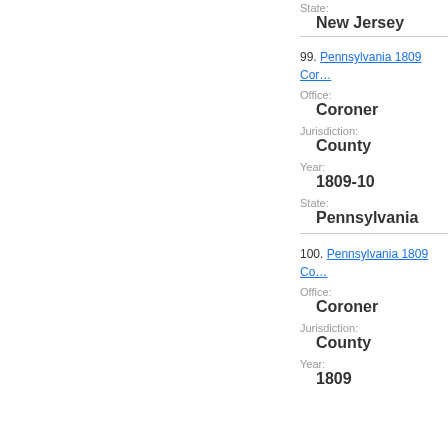State:
New Jersey
99. Pennsylvania 1809 Cor...
Office:
Coroner
Jurisdiction:
County
Year:
1809-10
State:
Pennsylvania
100. Pennsylvania 1809 Co...
Office:
Coroner
Jurisdiction:
County
Year:
1809